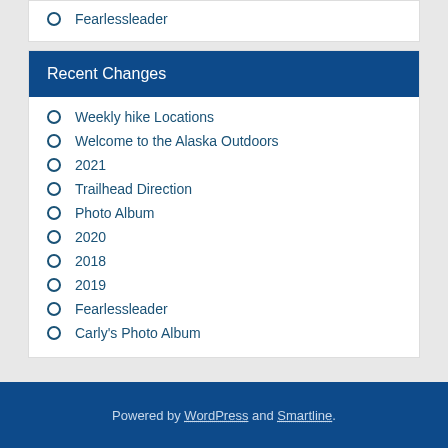Fearlessleader
Recent Changes
Weekly hike Locations
Welcome to the Alaska Outdoors
2021
Trailhead Direction
Photo Album
2020
2018
2019
Fearlessleader
Carly's Photo Album
Powered by WordPress and Smartline.